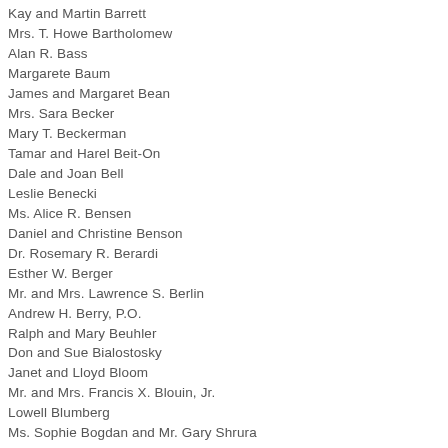Kay and Martin Barrett
Mrs. T. Howe Bartholomew
Alan R. Bass
Margarete Baum
James and Margaret Bean
Mrs. Sara Becker
Mary T. Beckerman
Tamar and Harel Beit-On
Dale and Joan Bell
Leslie Benecki
Ms. Alice R. Bensen
Daniel and Christine Benson
Dr. Rosemary R. Berardi
Esther W. Berger
Mr. and Mrs. Lawrence S. Berlin
Andrew H. Berry, P.O.
Ralph and Mary Beuhler
Don and Sue Bialostosky
Janet and Lloyd Bloom
Mr. and Mrs. Francis X. Blouin, Jr.
Lowell Blumberg
Ms. Sophie Bogdan and Mr. Gary Shrura
Ronald and Mimi Bogdasarian
Jean Magnano and Lee C. Bollinger